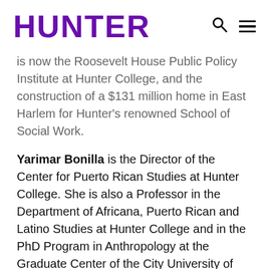HUNTER
is now the Roosevelt House Public Policy Institute at Hunter College, and the construction of a $131 million home in East Harlem for Hunter’s renowned School of Social Work.
Yarimar Bonilla is the Director of the Center for Puerto Rican Studies at Hunter College. She is also a Professor in the Department of Africana, Puerto Rican and Latino Studies at Hunter College and in the PhD Program in Anthropology at the Graduate Center of the City University of New York. Yarimar is a